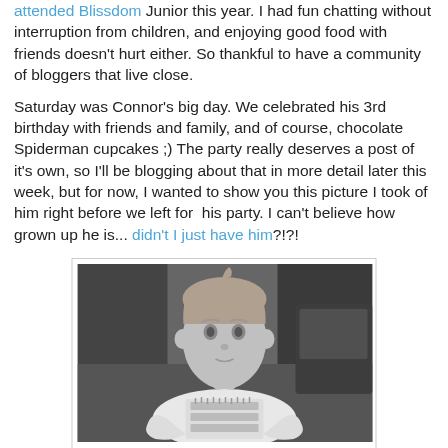attended Blissdom Junior this year. I had fun chatting without interruption from children, and enjoying good food with friends doesn't hurt either. So thankful to have a community of bloggers that live close.
Saturday was Connor's big day. We celebrated his 3rd birthday with friends and family, and of course, chocolate Spiderman cupcakes ;) The party really deserves a post of it's own, so I'll be blogging about that in more detail later this week, but for now, I wanted to show you this picture I took of him right before we left for his party. I can't believe how grown up he is... didn't I just have him?!?!
[Figure (photo): Black and white photograph of a young boy (Connor) wearing a birthday shirt with cake design, looking up at the camera]